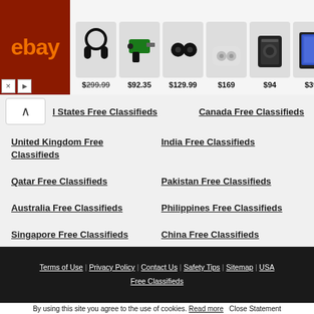[Figure (screenshot): eBay advertisement banner showing headphones, drill kit, earbuds, wireless earbuds with case, Bose speaker, and tablet with prices: $299.99, $92.35, $129.99, $169, $94, $399]
United States Free Classifieds
Canada Free Classifieds
United Kingdom Free Classifieds
India Free Classifieds
Qatar Free Classifieds
Pakistan Free Classifieds
Australia Free Classifieds
Philippines Free Classifieds
Singapore Free Classifieds
China Free Classifieds
New Zealand Free Classifieds
Malaysia Free Classifieds
Terms of Use | Privacy Policy | Contact Us | Safety Tips | Sitemap | USA Free Classifieds
By using this site you agree to the use of cookies. Read more   Close Statement